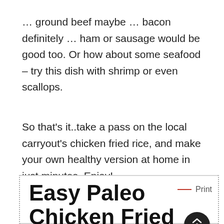… ground beef maybe … bacon definitely … ham or sausage would be good too. Or how about some seafood – try this dish with shrimp or even scallops.
So that's it..take a pass on the local carryout's chicken fried rice, and make your own healthy version at home in just minutes. Enjoy!
Easy Paleo Chicken Fried Rice Bowl Recipe